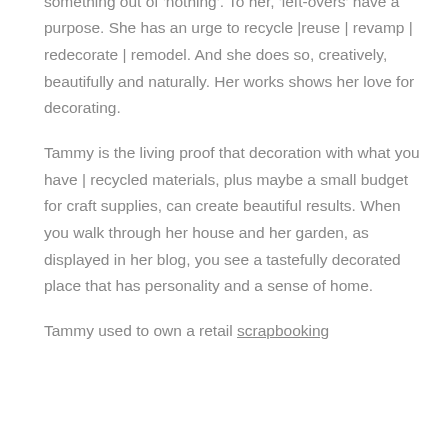décor. She's great at figuring out how to make something out of 'nothing'. To her, 'left-overs' have a purpose. She has an urge to recycle |reuse | revamp | redecorate | remodel. And she does so, creatively, beautifully and naturally. Her works shows her love for decorating.
Tammy is the living proof that decoration with what you have | recycled materials, plus maybe a small budget for craft supplies, can create beautiful results. When you walk through her house and her garden, as displayed in her blog, you see a tastefully decorated place that has personality and a sense of home.
Tammy used to own a retail scrapbooking